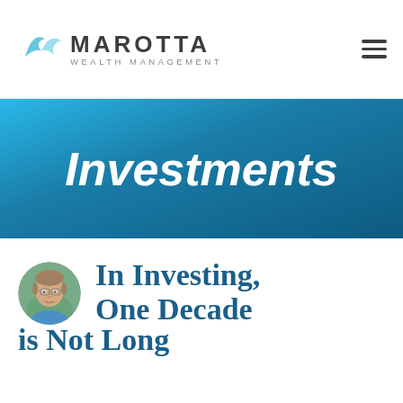[Figure (logo): Marotta Wealth Management logo with teal bird icon, company name in dark gray uppercase letters, and 'WEALTH MANAGEMENT' subtitle in gray spaced capitals]
Investments
[Figure (photo): Circular headshot photo of a middle-aged man with glasses, light brown hair, wearing a blue shirt, outdoors with green background]
In Investing, One Decade is Not Long